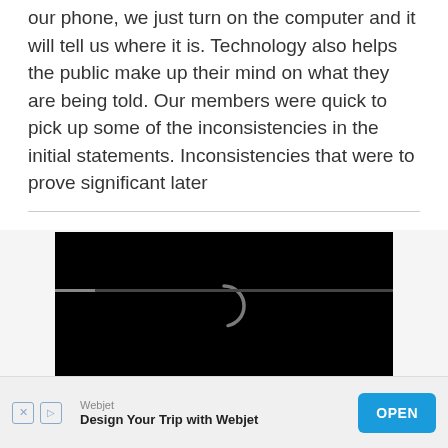our phone, we just turn on the computer and it will tell us where it is. Technology also helps the public make up their mind on what they are being told. Our members were quick to pick up some of the inconsistencies in the initial statements. Inconsistencies that were to prove significant later
[Figure (screenshot): Black video player area showing a loading spinner (circular arc) in the center, with a thin progress bar at the bottom.]
Webjet
Design Your Trip with Webjet
OPEN